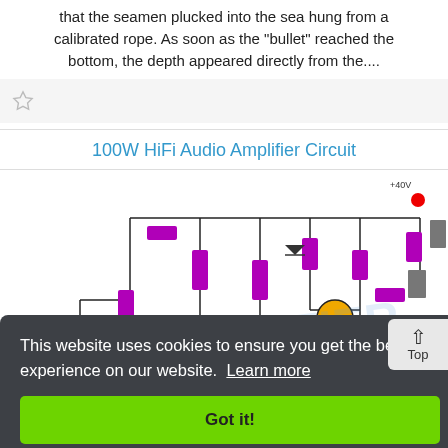that the seamen plucked into the sea hung from a calibrated rope. As soon as the "bullet" reached the bottom, the depth appeared directly from the....
[Figure (screenshot): Star/bookmark icon in a light gray bar]
100W HiFi Audio Amplifier Circuit
[Figure (circuit-diagram): 100W HiFi Audio Amplifier Circuit schematic with resistors, capacitors, transistors shown in purple, yellow and other colors on white background]
This website uses cookies to ensure you get the best experience on our website. Learn more
Got it!
This Amplifier was designed to have the following